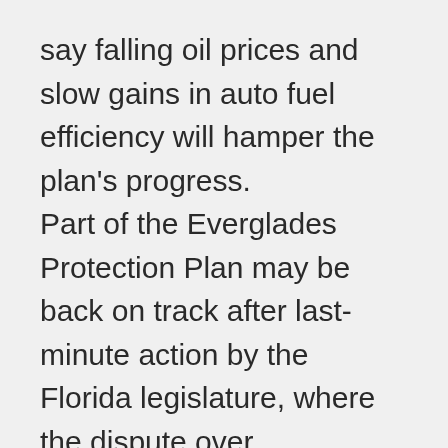say falling oil prices and slow gains in auto fuel efficiency will hamper the plan's progress.
Part of the Everglades Protection Plan may be back on track after last-minute action by the Florida legislature, where the dispute over agricultural runoff into the Everglades is far from settled. Joseph Cooper of member station WLRN in Miami reports.